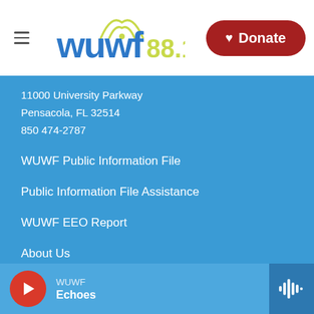[Figure (logo): WUWF 88.1 radio station logo with WiFi signal arcs in yellow-green above the letters, text in blue, frequency in yellow-green]
11000 University Parkway
Pensacola, FL 32514
850 474-2787
WUWF Public Information File
Public Information File Assistance
WUWF EEO Report
About Us
Donate Now
Become An Underwriter
Become A Day Sponsor
[Figure (screenshot): Bottom audio player bar showing WUWF station name and Echoes show title with play button and waveform icon]